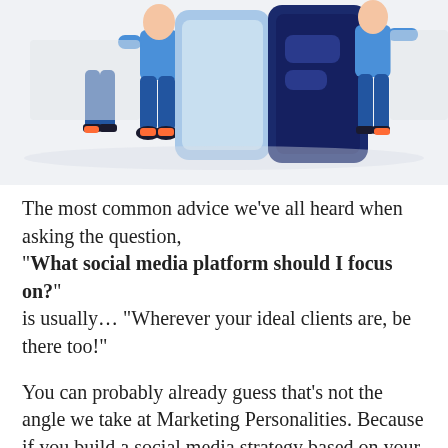[Figure (illustration): Flat style illustration of two people in blue outfits standing next to large dark blue tablet/phone devices against a light grey background]
The most common advice we’ve all heard when asking the question, “What social media platform should I focus on?” is usually… “Wherever your ideal clients are, be there too!”
You can probably already guess that’s not the angle we take at Marketing Personalities. Because if you build a social media strategy based on your ideal client, you could end up hating it yourself